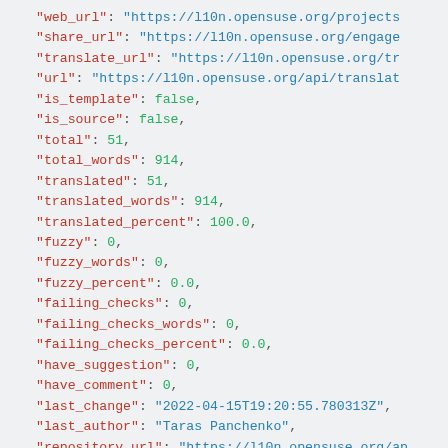"web_url": "https://l10n.opensuse.org/projects..."
"share_url": "https://l10n.opensuse.org/engage..."
"translate_url": "https://l10n.opensuse.org/tr..."
"url": "https://l10n.opensuse.org/api/translat..."
"is_template": false,
"is_source": false,
"total": 51,
"total_words": 914,
"translated": 51,
"translated_words": 914,
"translated_percent": 100.0,
"fuzzy": 0,
"fuzzy_words": 0,
"fuzzy_percent": 0.0,
"failing_checks": 0,
"failing_checks_words": 0,
"failing_checks_percent": 0.0,
"have_suggestion": 0,
"have_comment": 0,
"last_change": "2022-04-15T19:20:55.780313Z",
"last_author": "Taras Panchenko",
"repository_url": "https://l10n.opensuse.org/ap..."
"file_url": "https://l10n.opensuse.org/api/tra..."
"statistics_url": "https://l10n.opensuse.org/ap..."
"changes_list_url": "https://l10n.opensuse.org..."
"units_list_url": "https://l10n.opensuse.org/ap...